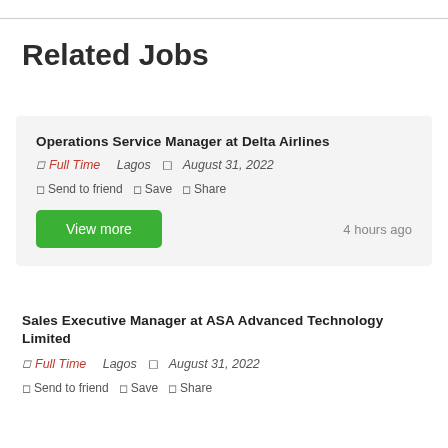Related Jobs
Operations Service Manager at Delta Airlines
◻ Full Time   Lagos   ◻ August 31, 2022
◻ Send to friend   ◻ Save   ◻ Share
View more   4 hours ago
Sales Executive Manager at ASA Advanced Technology Limited
◻ Full Time   Lagos   ◻ August 31, 2022
◻ Send to friend   ◻ Save   ◻ Share